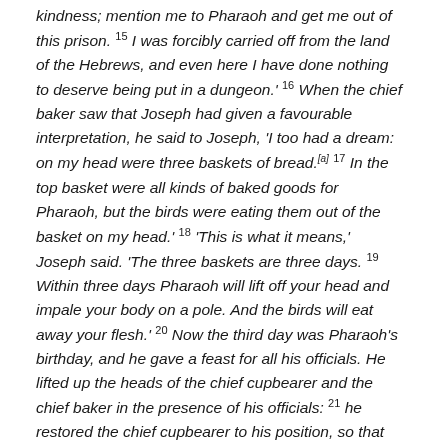kindness; mention me to Pharaoh and get me out of this prison. 15 I was forcibly carried off from the land of the Hebrews, and even here I have done nothing to deserve being put in a dungeon.' 16 When the chief baker saw that Joseph had given a favourable interpretation, he said to Joseph, 'I too had a dream: on my head were three baskets of bread.[a] 17 In the top basket were all kinds of baked goods for Pharaoh, but the birds were eating them out of the basket on my head.' 18 'This is what it means,' Joseph said. 'The three baskets are three days. 19 Within three days Pharaoh will lift off your head and impale your body on a pole. And the birds will eat away your flesh.' 20 Now the third day was Pharaoh's birthday, and he gave a feast for all his officials. He lifted up the heads of the chief cupbearer and the chief baker in the presence of his officials: 21 he restored the chief cupbearer to his position, so that he once again put the cup into